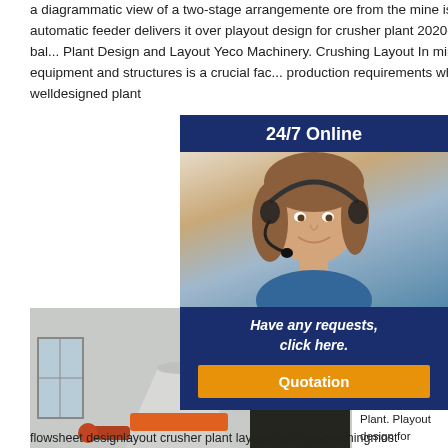a diagrammatic view of a two-stage arrangemente ore from the mine is dumped in the coarse ore bin, from which an automatic feeder delivers it over playout design for crusher plant 2020-2-18 playout design for crusher plant ,cast steel for bal... Plant Design and Layout Yeco Machinery. Crushing Layout In mining operations, the layout of crushing ancillary equipment and structures is a crucial fac... production requirements while keeping capital and... to a minimum A welldesigned plant
[Figure (photo): Customer service agent with headset — 24/7 Online chat widget with 'Have any requests, click here.' and Quotation button]
[Figure (photo): Cone crusher machine in industrial facility with email lmzgvip@gmail.com overlay]
Playout Design For Crusher Plant. Playout design for crusher plant crushing plant flowsheet designlayout crusher plant layoutcrushingscreeningmost
flowsheet designlayout crusher plant layoutcrushingscreeningmost